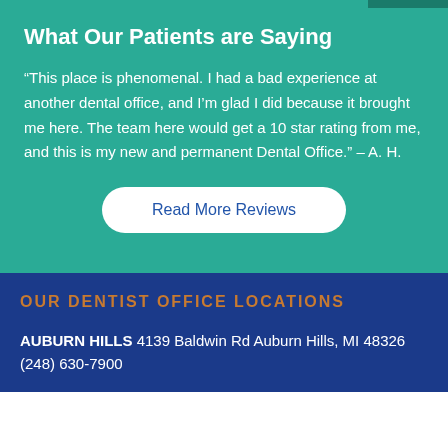What Our Patients are Saying
“This place is phenomenal. I had a bad experience at another dental office, and I’m glad I did because it brought me here. The team here would get a 10 star rating from me, and this is my new and permanent Dental Office.” – A. H.
Read More Reviews
OUR DENTIST OFFICE LOCATIONS
AUBURN HILLS 4139 Baldwin Rd Auburn Hills, MI 48326 (248) 630-7900